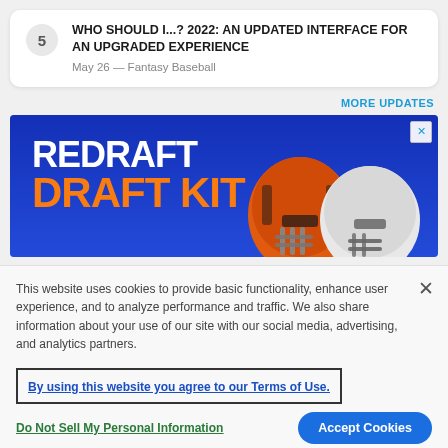5 WHO SHOULD I...? 2022: AN UPDATED INTERFACE FOR AN UPGRADED EXPERIENCE
May 26 — Fantasy Baseball
MORE UPDATES
[Figure (photo): Advertisement banner for Redraft Draft Kit featuring two NFL players in helmets on a blue background. White text reads REDRAFT and orange text reads DRAFT KIT.]
This website uses cookies to provide basic functionality, enhance user experience, and to analyze performance and traffic. We also share information about your use of our site with our social media, advertising, and analytics partners.
By using this website you agree to our Terms of Use.
Do Not Sell My Personal Information
Accept Cookies